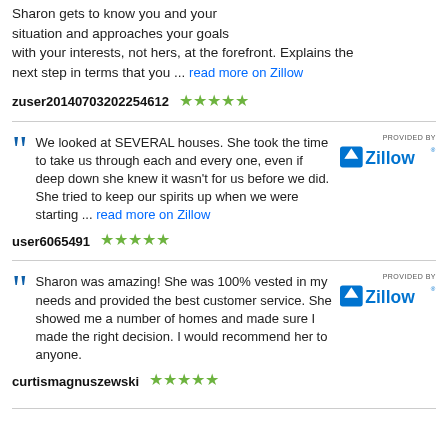Sharon gets to know you and your situation and approaches your goals with your interests, not hers, at the forefront. Explains the next step in terms that you ... read more on Zillow
zuser20140703202254612 ★★★★★
We looked at SEVERAL houses. She took the time to take us through each and every one, even if deep down she knew it wasn't for us before we did. She tried to keep our spirits up when we were starting ... read more on Zillow
user6065491 ★★★★★
Sharon was amazing! She was 100% vested in my needs and provided the best customer service. She showed me a number of homes and made sure I made the right decision. I would recommend her to anyone.
curtismagnuszewski ★★★★★